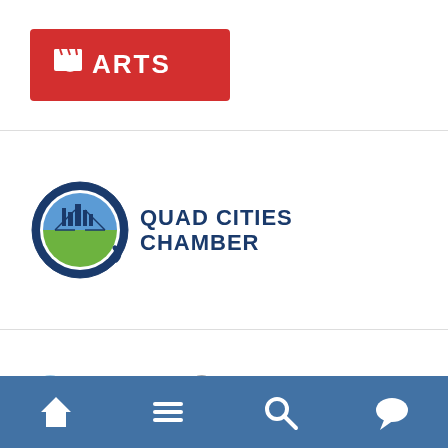[Figure (logo): Illinois Arts Council Agency logo — white hands/brush icon on red background with ARTS text]
[Figure (logo): Quad Cities Chamber logo — circular blue Q emblem with city skyline and QUAD CITIES CHAMBER text]
[Figure (logo): Quad Cities visitquadcities.com logo with colorful QUAD CITIES text and website URL]
Quad Cities Convention and Visitor Bureau
[Figure (screenshot): Navigation bar with home, menu, search, and chat icons on blue background]